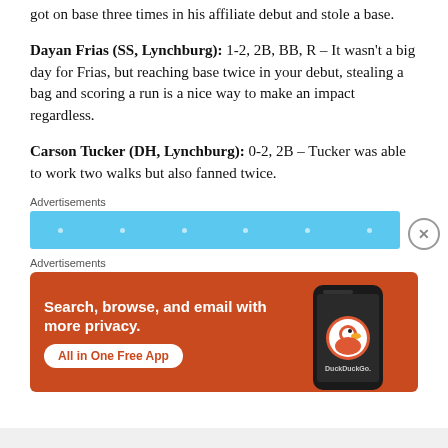got on base three times in his affiliate debut and stole a base.
Dayan Frias (SS, Lynchburg): 1-2, 2B, BB, R – It wasn't a big day for Frias, but reaching base twice in your debut, stealing a bag and scoring a run is a nice way to make an impact regardless.
Carson Tucker (DH, Lynchburg): 0-2, 2B – Tucker was able to work two walks but also fanned twice.
[Figure (other): Advertisement banner - light blue horizontal banner with dots]
[Figure (other): Advertisement - DuckDuckGo app promotion with orange/red background, text: Search, browse, and email with more privacy. All in One Free App. Shows phone graphic with DuckDuckGo logo.]